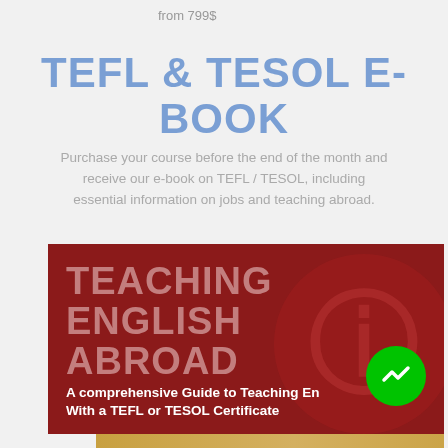from 799$
TEFL & TESOL E-BOOK
Purchase your course before the end of the month and receive our e-book on TEFL / TESOL, including essential information on jobs and teaching abroad.
[Figure (illustration): Book cover with dark red background showing 'TEACHING ENGLISH ABROAD - A comprehensive Guide to Teaching English With a TEFL or TESOL Certificate', with a circular logo watermark and a green Messenger button overlay. A golden strip appears at the bottom.]